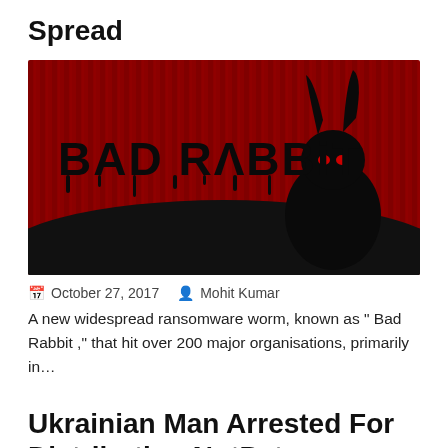Spread
[Figure (illustration): Bad Rabbit ransomware themed image: dark red background with vertical streaks, large black dripping text reading BAD RABBIT on the left, silhouette of a demonic rabbit with glowing red eyes on the right.]
October 27, 2017   Mohit Kumar
A new widespread ransomware worm, known as " Bad Rabbit ," that hit over 200 major organisations, primarily in...
Ukrainian Man Arrested For Distributing NotPetya Ransomware